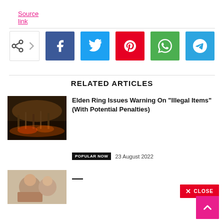Source link
[Figure (infographic): Social share buttons row: share icon, Facebook, Twitter, Pinterest, WhatsApp, Telegram]
RELATED ARTICLES
[Figure (photo): Dark fantasy battle scene image for Elden Ring article]
Elden Ring Issues Warning On “Illegal Items” (With Potential Penalties)
POPULAR NOW   23 August 2022
[Figure (photo): Partially visible image for second article]
CLOSE
[Figure (infographic): Scroll to top button with upward arrow, pink background]